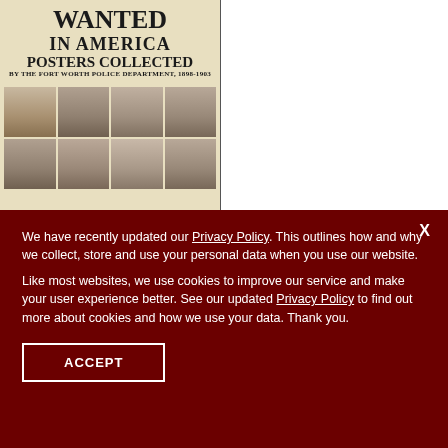[Figure (photo): Book cover: 'Wanted in America Posters Collected by the Fort Worth Police Department, 1898-1903' with a grid of historical portrait photographs]
We have recently updated our Privacy Policy. This outlines how and why we collect, store and use your personal data when you use our website.
Like most websites, we use cookies to improve our service and make your user experience better. See our updated Privacy Policy to find out more about cookies and how we use your data. Thank you.
ACCEPT